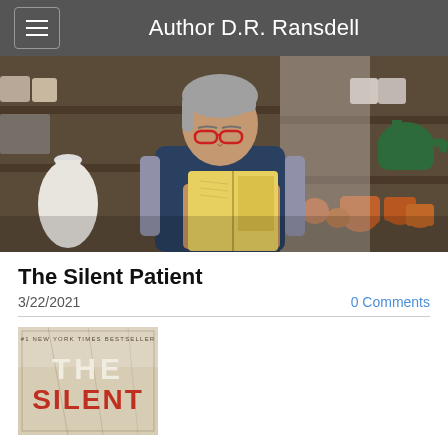Author D.R. Ransdell
[Figure (photo): Woman with gray hair and red glasses reading a yellow book in a shop filled with pottery and shelves of ceramics]
The Silent Patient
3/22/2021
0 Comments
[Figure (photo): Book cover of 'The Silent Patient' showing #1 New York Times Bestseller label, with 'THE' in white and 'SILENT' in red letters on a beige/cream background]